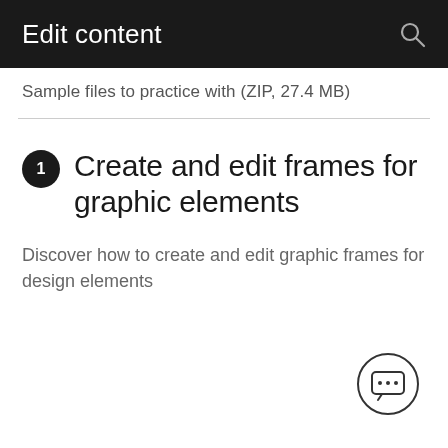Edit content
Sample files to practice with (ZIP, 27.4 MB)
1 Create and edit frames for graphic elements
Discover how to create and edit graphic frames for design elements
[Figure (illustration): Chat bubble icon with ellipsis inside, enclosed in a circle outline]